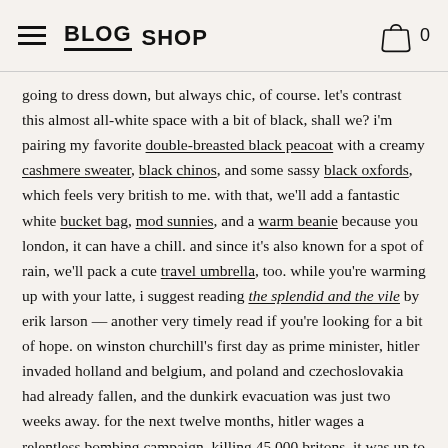BLOG  SHOP  [cart icon] 0
going to dress down, but always chic, of course. let's contrast this almost all-white space with a bit of black, shall we? i'm pairing my favorite double-breasted black peacoat with a creamy cashmere sweater, black chinos, and some sassy black oxfords, which feels very british to me. with that, we'll add a fantastic white bucket bag, mod sunnies, and a warm beanie because you london, it can have a chill. and since it's also known for a spot of rain, we'll pack a cute travel umbrella, too. while you're warming up with your latte, i suggest reading the splendid and the vile by erik larson — another very timely read if you're looking for a bit of hope. on winston churchill's first day as prime minister, hitler invaded holland and belgium, and poland and czechoslovakia had already fallen, and the dunkirk evacuation was just two weeks away. for the next twelve months, hitler wages a relentless bombing campaign, killing 45,000 britons. it was up to churchill to hold his country together and persuade president roosevelt that britain was a worthy ally—and willing to fight to